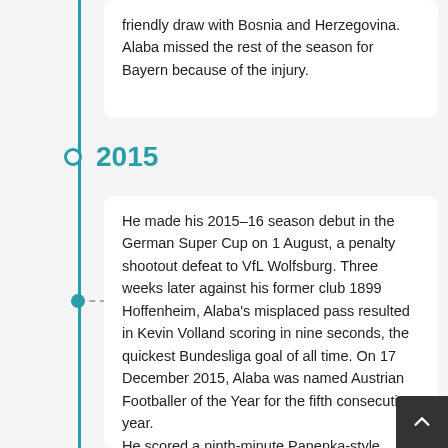friendly draw with Bosnia and Herzegovina. Alaba missed the rest of the season for Bayern because of the injury.
2015
He made his 2015–16 season debut in the German Super Cup on 1 August, a penalty shootout defeat to VfL Wolfsburg. Three weeks later against his former club 1899 Hoffenheim, Alaba's misplaced pass resulted in Kevin Volland scoring in nine seconds, the quickest Bundesliga goal of all time. On 17 December 2015, Alaba was named Austrian Footballer of the Year for the fifth consecutive year.
He scored a ninth-minute Panenka-style penalty kick on 8 September 2015 to open a 4–1 away win over Sweden at the Friends Arena in Solna. The result qualified Austria for UEFA Euro 2016, their first successful qualification campaign for the continental